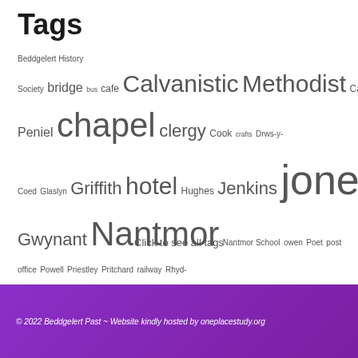Tags
Beddgelert History Society bridge bus cafe Calvanistic Methodist Campsite Capel Peniel chapel clergy Cook crafts Drws-y-Coed Glaslyn Griffith hotel Hughes Jenkins jones Nant Gwynant Nantmor Nantmor School owen Poet post office Powell Priestley Pritchard railway Rhyd-Ddu roberts Royal Goat Hotel school Snowdon Ranger storm suicide Sygun Fawr Sygun Terrace temperance society Ty'r Ysgol Ty Isaf Vicar White Whitnall williams Youth Hostel
Click to see all tags
© 2022 Beddgelert Past ~ Website kindly hosted by oneplacestudy.org